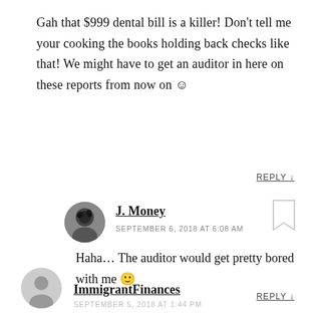Gah that $999 dental bill is a killer! Don't tell me your cooking the books holding back checks like that! We might have to get an auditor in here on these reports from now on ☺
REPLY ↓
J. Money
SEPTEMBER 6, 2018 AT 6:08 AM
Haha… The auditor would get pretty bored with me 🙂
REPLY ↓
ImmigrantFinances
SEPTEMBER 5, 2018 AT 1:44 PM